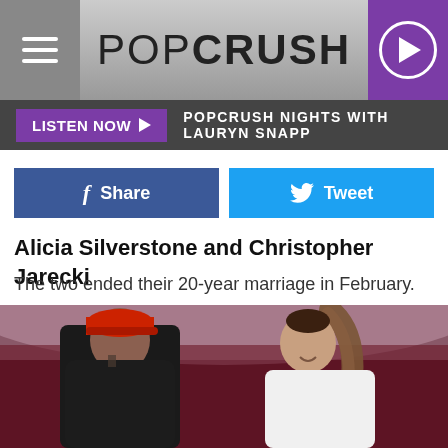POPCRUSH
LISTEN NOW ▶  POPCRUSH NIGHTS WITH LAURYN SNAPP
Share  Tweet
Alicia Silverstone and Christopher Jarecki
The two ended their 20-year marriage in February.
[Figure (photo): Two people on a concert stage facing each other smiling. Person on left wears a red cap and black hoodie with tattoos visible. Person on right wears a white outfit with long ponytail hair.]